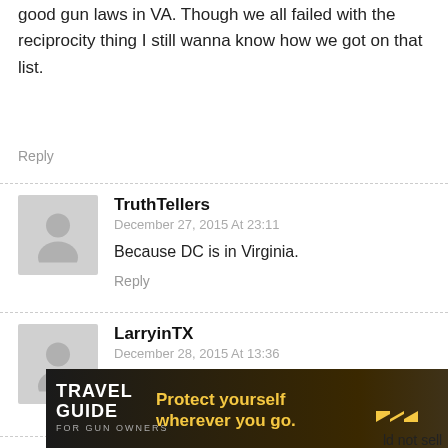good gun laws in VA. Though we all failed with the reciprocity thing I still wanna know how we got on that list.
Reply
TruthTellers
December 27, 2015 At 23:11
Because DC is in Virginia.
Reply
LarryinTX
December 28, 2015 At 13:36
Sort of.
Reply
Chris Mallor
[Figure (infographic): Travel Guide for Gun Owners advertisement banner: dark background with text 'TRAVEL GUIDE FOR GUN OWNERS' on left, center text 'Protect yourself wherever you go.' with yellow play arrows, and US LawShield logo on right.]
ld not sell to